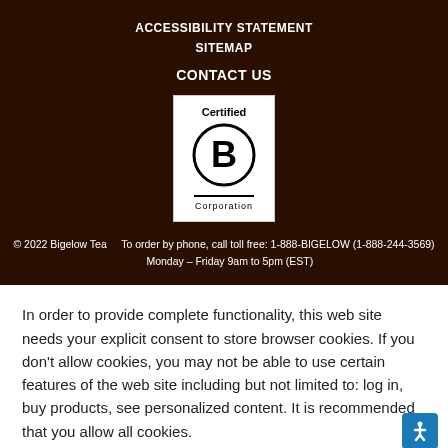ACCESSIBILITY STATEMENT
SITEMAP
CONTACT US
[Figure (logo): Certified B Corporation logo — white background with large circle containing letter B and text 'Certified' above and 'Corporation' below]
© 2022 Bigelow Tea    To order by phone, call toll free: 1-888-BIGELOW (1-888-244-3569)    Monday – Friday 9am to 5pm (EST)
In order to provide complete functionality, this web site needs your explicit consent to store browser cookies. If you don't allow cookies, you may not be able to use certain features of the web site including but not limited to: log in, buy products, see personalized content. It is recommended that you allow all cookies.